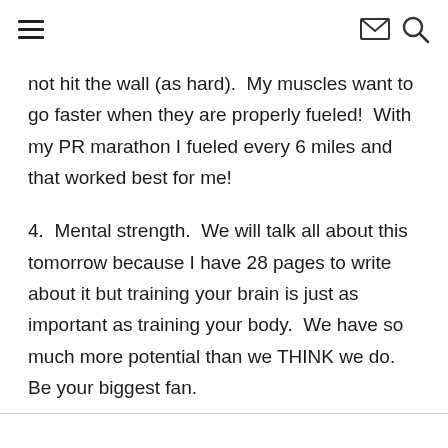≡  ✉  🔍
not hit the wall (as hard).  My muscles want to go faster when they are properly fueled!  With my PR marathon I fueled every 6 miles and that worked best for me!
4.  Mental strength.  We will talk all about this tomorrow because I have 28 pages to write about it but training your brain is just as important as training your body.  We have so much more potential than we THINK we do.  Be your biggest fan.